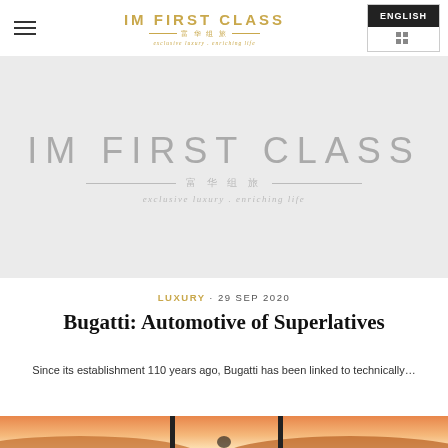IM FIRST CLASS | ENGLISH
[Figure (logo): IM FIRST CLASS logo with decorative lines, Chinese characters, and tagline 'Exclusive Luxury . Enriching Life']
LUXURY · 29 SEP 2020
Bugatti: Automotive of Superlatives
Since its establishment 110 years ago, Bugatti has been linked to technically...
[Figure (photo): A desert sunset photo with two tall poles and a person with arms raised in silhouette against a warm orange sky]